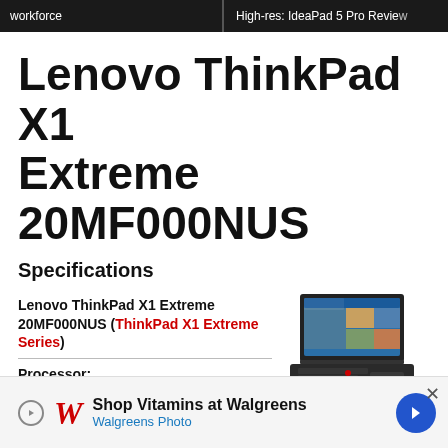workforce | High-res: IdeaPad 5 Pro Review
Lenovo ThinkPad X1 Extreme 20MF000NUS
Specifications
Lenovo ThinkPad X1 Extreme 20MF000NUS (ThinkPad X1 Extreme Series)
[Figure (photo): Lenovo ThinkPad X1 Extreme laptop product photo, showing open laptop with display and keyboard from a slight angle]
Processor: Intel Core i7-8850H 6 x 2.6 - 4.3 GHz, Coffee Lake H
Shop Vitamins at Walgreens - Walgreens Photo (advertisement)